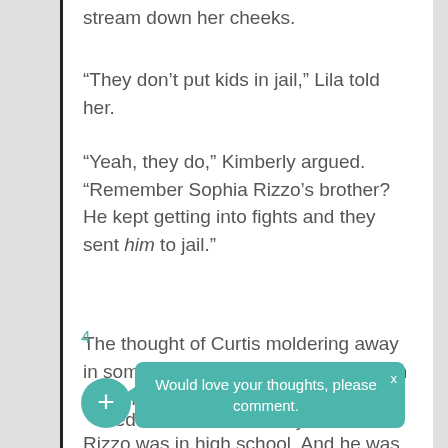stream down her cheeks.
“They don’t put kids in jail,” Lila told her.
“Yeah, they do,” Kimberly argued. “Remember Sophia Rizzo’s brother? He kept getting into fights and they sent him to jail.”
The thought of Curtis moldering away in some dank cell made Ellen cry even harder.
“…ed … Tony Rizzo was in high school. And he was
[Figure (screenshot): Tooltip bubble with teal background saying 'Would love your thoughts, please comment.' with an X close button. Below left is a teal circle plus button and page number 4.]